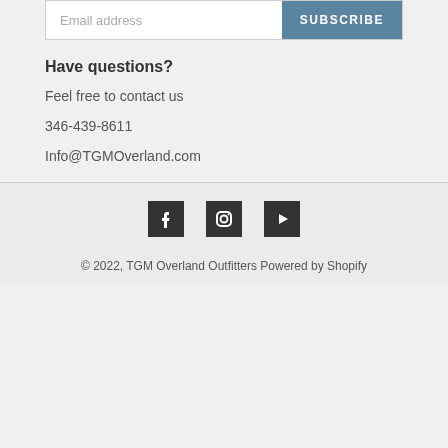Email address
SUBSCRIBE
Have questions?
Feel free to contact us
346-439-8611
Info@TGMOverland.com
[Figure (other): Social media icons: Facebook, Instagram, YouTube]
© 2022, TGM Overland Outfitters Powered by Shopify